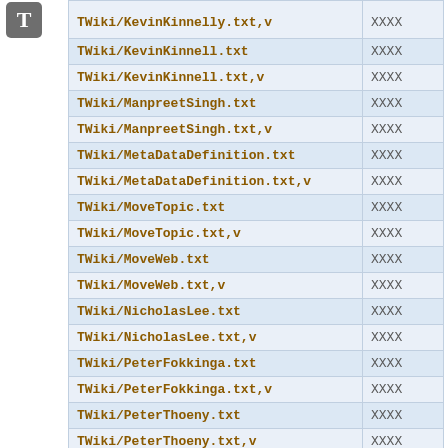| File | Access |
| --- | --- |
| TWiki/KevinKinnell.txt | XXXX |
| TWiki/KevinKinnell.txt,v | XXXX |
| TWiki/ManpreetSingh.txt | XXXX |
| TWiki/ManpreetSingh.txt,v | XXXX |
| TWiki/MetaDataDefinition.txt | XXXX |
| TWiki/MetaDataDefinition.txt,v | XXXX |
| TWiki/MoveTopic.txt | XXXX |
| TWiki/MoveTopic.txt,v | XXXX |
| TWiki/MoveWeb.txt | XXXX |
| TWiki/MoveWeb.txt,v | XXXX |
| TWiki/NicholasLee.txt | XXXX |
| TWiki/NicholasLee.txt,v | XXXX |
| TWiki/PeterFokkinga.txt | XXXX |
| TWiki/PeterFokkinga.txt,v | XXXX |
| TWiki/PeterThoeny.txt | XXXX |
| TWiki/PeterThoeny.txt,v | XXXX |